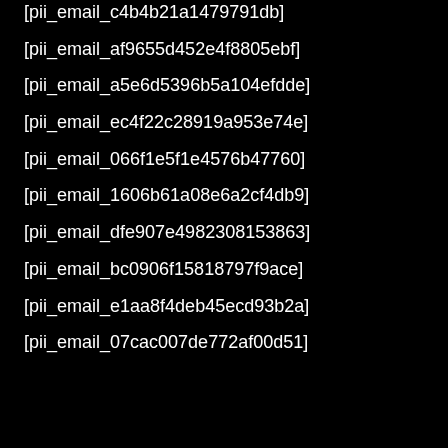[pii_email_c4b4b21a1479791db]
[pii_email_af9655d452e4f8805ebf]
[pii_email_a5e6d5396b5a104efdde]
[pii_email_ec4f22c28919a953e74e]
[pii_email_066f1e5f1e4576b47760]
[pii_email_1606b61a08e6a2cf4db9]
[pii_email_dfe907e4982308153863]
[pii_email_bc0906f15818797f9ace]
[pii_email_e1aa8f4deb45ecd93b2a]
[pii_email_07cac007de772af00d51]